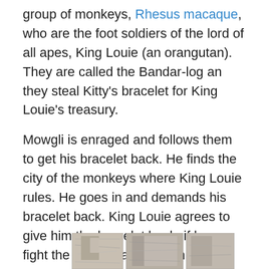group of monkeys, Rhesus macaque, who are the foot soldiers of the lord of all apes, King Louie (an orangutan). They are called the Bandar-log an they steal Kitty's bracelet for King Louie's treasury.
Mowgli is enraged and follows them to get his bracelet back. He finds the city of the monkeys where King Louie rules. He goes in and demands his bracelet back. King Louie agrees to give him the bracelet back, if he can fight the snake Kaa and win. Mowgli pulls out a jeweled dagger and uses it to fight against Kaa. And wins the appreciation of all the apes
Meanwhile, Kitty is a woman now, back in India and engaged to Captain William Boone, played by the very sexy Cary Elwes.
[Figure (photo): Partial strip of black and white photographs at the bottom of the page, partially cropped]